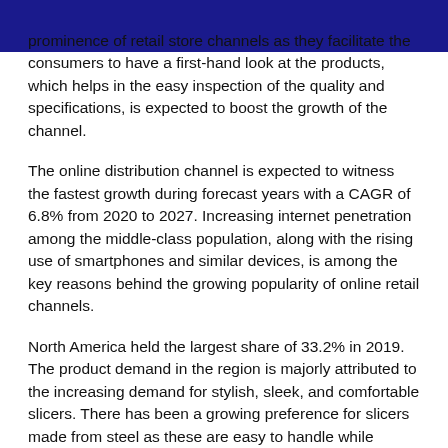prominence of retail store channels as they facilitate the consumers to have a first-hand look at the products, which helps in the easy inspection of the quality and specifications, is expected to boost the growth of the channel.
The online distribution channel is expected to witness the fastest growth during forecast years with a CAGR of 6.8% from 2020 to 2027. Increasing internet penetration among the middle-class population, along with the rising use of smartphones and similar devices, is among the key reasons behind the growing popularity of online retail channels.
North America held the largest share of 33.2% in 2019. The product demand in the region is majorly attributed to the increasing demand for stylish, sleek, and comfortable slicers. There has been a growing preference for slicers made from steel as these are easy to handle while slicing